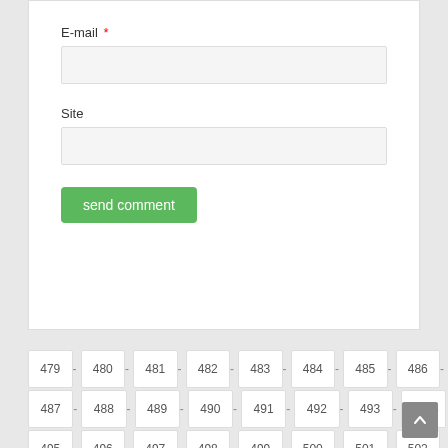E-mail *
Site
send comment
479 - 480 - 481 - 482 - 483 - 484 - 485 - 486 - 487 - 488 - 489 - 490 - 491 - 492 - 493 - -494- 495 - 496 - 497 - 498 - 499 - 500 - 501 - 502 -